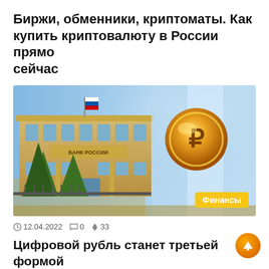Биржи, обменники, криптоматы. Как купить криптовалюту в России прямо сейчас
[Figure (photo): Photo of a Russian government building (Bank of Russia) with fir trees in front, blue sky, and a gold cryptocurrency coin with ruble symbol floating to the right. A yellow 'Финансы' (Finance) badge is in the bottom-right corner.]
12.04.2022  0  33
Цифровой рубль станет третьей формой денег в РФ